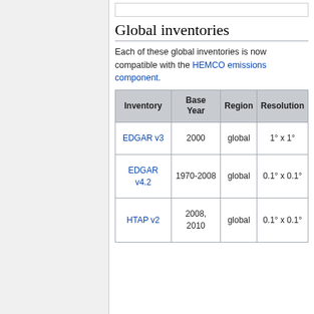Global inventories
Each of these global inventories is now compatible with the HEMCO emissions component.
| Inventory | Base Year | Region | Resolution |
| --- | --- | --- | --- |
| EDGAR v3 | 2000 | global | 1° x 1° |
| EDGAR v4.2 | 1970-2008 | global | 0.1° x 0.1° |
| HTAP v2 | 2008, 2010 | global | 0.1° x 0.1° |